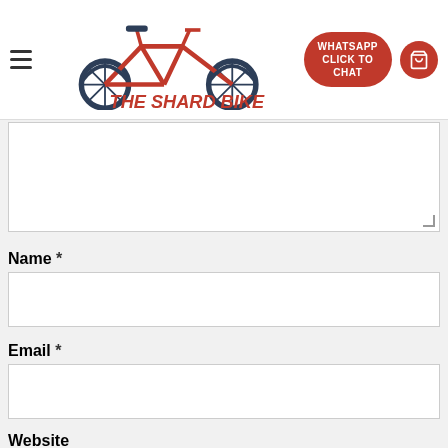[Figure (screenshot): Website header for 'The Shard Bike' with hamburger menu, bicycle logo in red and dark blue, WhatsApp Click to Chat red button, and red cart icon button]
Name *
Email *
Website
Save my name, email, and website in this browser for